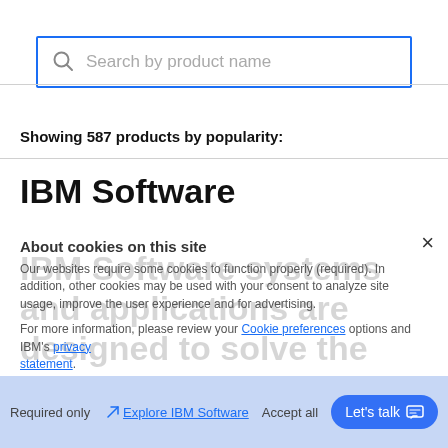[Figure (screenshot): Search bar with blue border and magnifier icon, placeholder text 'Search by product name']
Showing 587 products by popularity:
IBM Software
IBM Software systems and applications are designed to solve the most challenging needs of organizations large and small, across all industries, worldwide.
[Figure (screenshot): Cookie consent overlay: 'About cookies on this site' title, cookie notice text, Cookie preferences and privacy links, close button (×)]
Required only
Explore IBM Software
Accept all
Let's talk